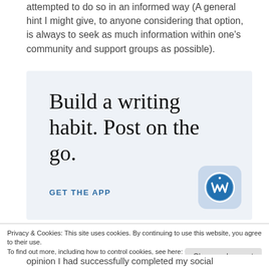attempted to do so in an informed way (A general hint I might give, to anyone considering that option, is always to seek as much information within one's community and support groups as possible).
[Figure (other): WordPress app advertisement banner with serif headline 'Build a writing habit. Post on the go.' with a blue 'GET THE APP' call to action and WordPress logo icon]
Privacy & Cookies: This site uses cookies. By continuing to use this website, you agree to their use.
To find out more, including how to control cookies, see here: Cookie Policy
opinion I had successfully completed my social